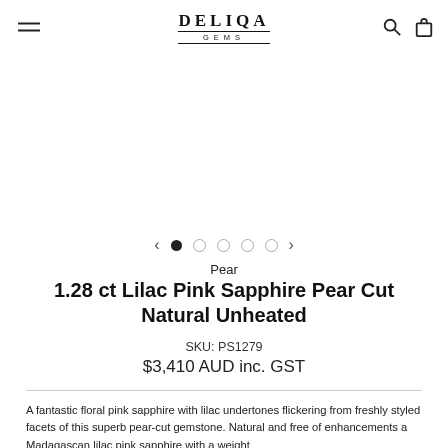DELIQA GEMS
[Figure (screenshot): Carousel navigation with left arrow, one filled dot (active) and four empty dots, and right arrow]
Pear
1.28 ct Lilac Pink Sapphire Pear Cut Natural Unheated
SKU: PS1279
$3,410 AUD inc. GST
A fantastic floral pink sapphire with lilac undertones flickering from freshly styled facets of this superb pear-cut gemstone. Natural and free of enhancements a Madagascan lilac pink sapphire with a weight of...